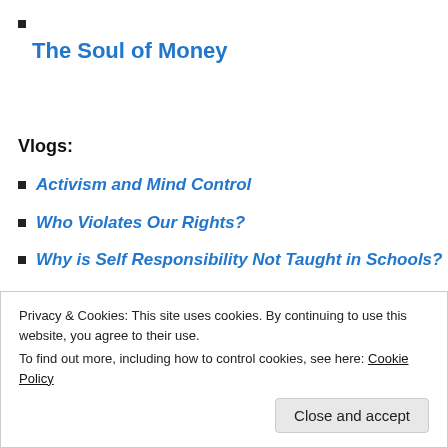■
The Soul of Money
Vlogs:
Activism and Mind Control
Who Violates Our Rights?
Why is Self Responsibility Not Taught in Schools?
What is Desteni and Equal Money?
Privacy & Cookies: This site uses cookies. By continuing to use this website, you agree to their use.
To find out more, including how to control cookies, see here: Cookie Policy
Close and accept